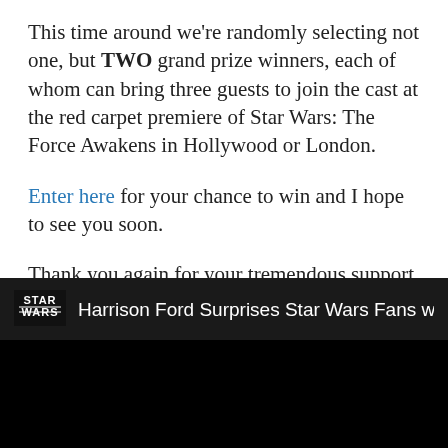This time around we're randomly selecting not one, but TWO grand prize winners, each of whom can bring three guests to join the cast at the red carpet premiere of Star Wars: The Force Awakens in Hollywood or London.
Enter here for your chance to win and I hope to see you soon.
Thank you again for your tremendous support.
J.J.”
[Figure (screenshot): Dark video thumbnail bar with Star Wars logo icon on the left and text 'Harrison Ford Surprises Star Wars Fans with Big...' in white on dark background]